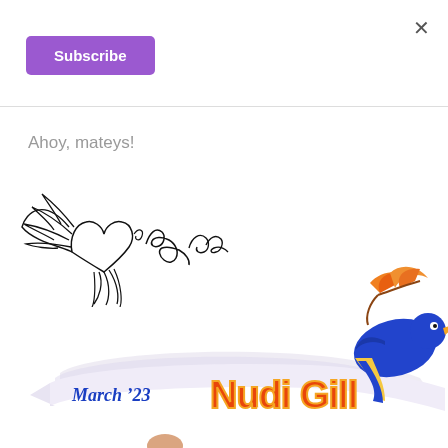×
Subscribe
Ahoy, mateys!
[Figure (illustration): Hand-drawn signature illustration of a heart with wings and cursive text reading 'Bonnie']
[Figure (illustration): Colorful banner illustration with a blue bird/nudibranch, leaves, and text reading 'March '23 Nudi Gill']